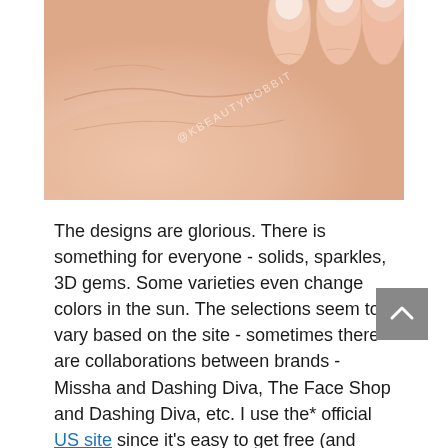[Figure (photo): Close-up photo of a hand showing bare natural nails, pale skin with finger creases visible. Watermark text '@KBEAUTYHOBBIT' appears diagonally in light gray across the center of the image.]
The designs are glorious. There is something for everyone - solids, sparkles, 3D gems. Some varieties even change colors in the sun. The selections seem to vary based on the site - sometimes there are collaborations between brands - Missha and Dashing Diva, The Face Shop and Dashing Diva, etc. I use the* official US site since it's easy to get free (and quick) shipping.